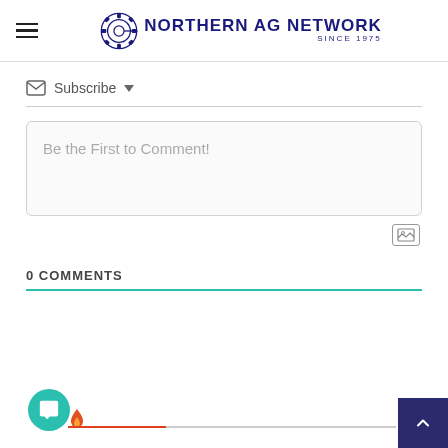[Figure (logo): Northern Ag Network logo with gear icon and text 'NORTHERN AG NETWORK SINCE 1975']
Subscribe ▾
Be the First to Comment!
0 COMMENTS
[Figure (screenshot): Chat widget button (teal circle with chat icon), fire icon, progress bar, and back-to-top button]